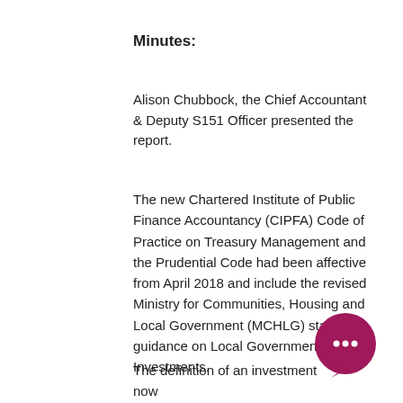Minutes:
Alison Chubbock, the Chief Accountant & Deputy S151 Officer presented the report.
The new Chartered Institute of Public Finance Accountancy (CIPFA) Code of Practice on Treasury Management and the Prudential Code had been affective from April 2018 and include the revised Ministry for Communities, Housing and Local Government (MCHLG) statutory guidance on Local Government Investments.
The definition of an investment now
[Figure (illustration): Dark pink/maroon circular chat bubble icon with three dots inside, positioned at bottom right of page]